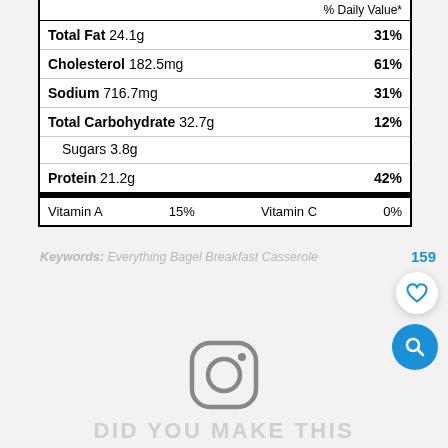| Nutrient | Amount | % Daily Value |
| --- | --- | --- |
| Total Fat 24.1g | 31% |
| Cholesterol 182.5mg | 61% |
| Sodium 716.7mg | 31% |
| Total Carbohydrate 32.7g | 12% |
| Sugars 3.8g |  |
| Protein 21.2g | 42% |
| Vitamin A  15%  Vitamin C  0% |  |
Keywords: Everything Bagel Breakfast Casserole
159
[Figure (logo): Instagram camera icon in gray]
DID YOU MAKE THIS